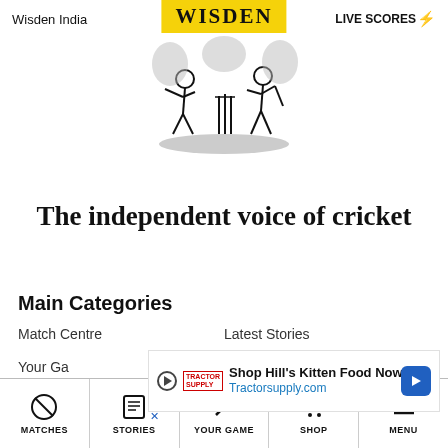Wisden India  WISDEN  LIVE SCORES⚡
[Figure (illustration): Wisden logo: yellow banner with WISDEN text and cricket illustration of batsman and fielder with stumps]
The independent voice of cricket
Main Categories
Match Centre
Latest Stories
Your Game
Long Ro...
[Figure (screenshot): Advertisement banner: Shop Hill's Kitten Food Now Tractorsupply.com with play button, Tractor Supply logo, and blue direction arrow]
MATCHES  STORIES  YOUR GAME  SHOP  MENU